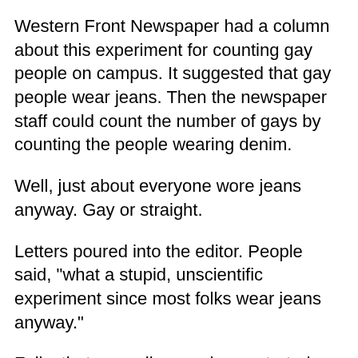Western Front Newspaper had a column about this experiment for counting gay people on campus. It suggested that gay people wear jeans. Then the newspaper staff could count the number of gays by counting the people wearing denim.
Well, just about everyone wore jeans anyway. Gay or straight.
Letters poured into the editor. People said, "what a stupid, unscientific experiment since most folks wear jeans anyway."
Folks that normally wore jeans started desperately looking around in their closets for anything, besides denim to wear. The suite coats their mothers insisted they take to college, but thought they would never wear.
Some folks had nothing but whatever comes next...